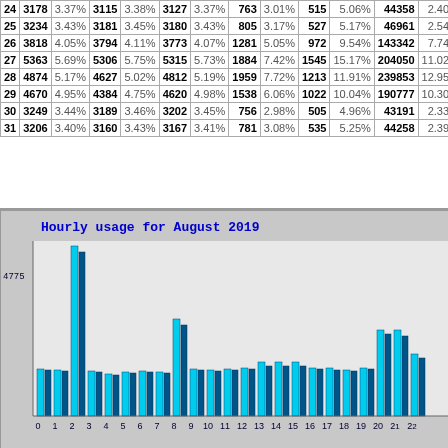| Day | Col1 | % | Col2 | % | Col3 | % | Col4 | % | Col5 | % | Col6 | % | 0 |
| --- | --- | --- | --- | --- | --- | --- | --- | --- | --- | --- | --- | --- | --- |
| 24 | 3178 | 3.37% | 3115 | 3.38% | 3127 | 3.37% | 763 | 3.01% | 515 | 5.06% | 44358 | 2.40% | 0 |
| 25 | 3234 | 3.43% | 3181 | 3.45% | 3180 | 3.43% | 805 | 3.17% | 527 | 5.17% | 46961 | 2.54% | 0 |
| 26 | 3818 | 4.05% | 3794 | 4.11% | 3773 | 4.07% | 1281 | 5.05% | 972 | 9.54% | 143342 | 7.74% | 0 |
| 27 | 5363 | 5.69% | 5306 | 5.75% | 5315 | 5.73% | 1884 | 7.42% | 1545 | 15.17% | 204050 | 11.02% | 0 |
| 28 | 4874 | 5.17% | 4627 | 5.02% | 4812 | 5.19% | 1959 | 7.72% | 1213 | 11.91% | 239853 | 12.95% | 0 |
| 29 | 4670 | 4.95% | 4384 | 4.75% | 4620 | 4.98% | 1538 | 6.06% | 1022 | 10.04% | 190777 | 10.30% | 0 |
| 30 | 3249 | 3.44% | 3189 | 3.46% | 3202 | 3.45% | 756 | 2.98% | 505 | 4.96% | 43191 | 2.33% | 0 |
| 31 | 3206 | 3.40% | 3160 | 3.43% | 3167 | 3.41% | 781 | 3.08% | 535 | 5.25% | 44258 | 2.39% | 0 |
[Figure (grouped-bar-chart): Hourly usage for August 2019]